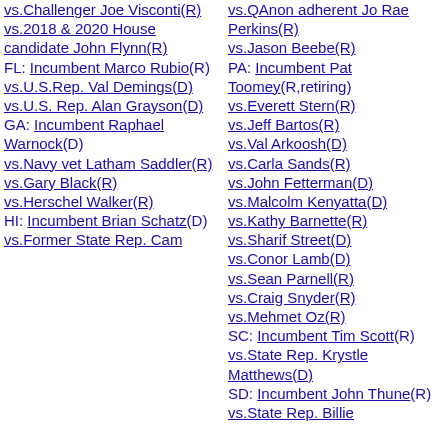vs.Challenger Joe Visconti(R) vs.2018 & 2020 House candidate John Flynn(R) FL: Incumbent Marco Rubio(R) vs.U.S.Rep. Val Demings(D) vs.U.S. Rep. Alan Grayson(D) GA: Incumbent Raphael Warnock(D) vs.Navy vet Latham Saddler(R) vs.Gary Black(R) vs.Herschel Walker(R) HI: Incumbent Brian Schatz(D) vs.Former State Rep. Cam
vs.QAnon adherent Jo Rae Perkins(R) vs.Jason Beebe(R) PA: Incumbent Pat Toomey(R,retiring) vs.Everett Stern(R) vs.Jeff Bartos(R) vs.Val Arkoosh(D) vs.Carla Sands(R) vs.John Fetterman(D) vs.Malcolm Kenyatta(D) vs.Kathy Barnette(R) vs.Sharif Street(D) vs.Conor Lamb(D) vs.Sean Parnell(R) vs.Craig Snyder(R) vs.Mehmet Oz(R) SC: Incumbent Tim Scott(R) vs.State Rep. Krystle Matthews(D) SD: Incumbent John Thune(R) vs.State Rep. Billie